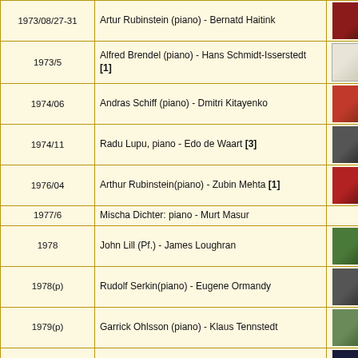| Date | Artist | Image |
| --- | --- | --- |
| 1973/08/27-31 | Artur Rubinstein (piano) - Bernatd Haitink |  |
| 1973/5 | Alfred Brendel (piano) - Hans Schmidt-Isserstedt [1] |  |
| 1974/06 | Andras Schiff (piano) - Dmitri Kitayenko |  |
| 1974/11 | Radu Lupu, piano - Edo de Waart [3] |  |
| 1976/04 | Arthur Rubinstein(piano) - Zubin Mehta [1] |  |
| 1977/6 | Mischa Dichter: piano - Murt Masur |  |
| 1978 | John Lill (Pf.) - James Loughran |  |
| 1978(p) | Rudolf Serkin(piano) - Eugene Ormandy |  |
| 1979(p) | Garrick Ohlsson (piano) - Klaus Tennstedt |  |
| 1979/02/3,5 | Daniel Barenboim - Zubin Mehta |  |
| 1979/03 | Hans Richter-Haaser(piano) - Kurt Sanderling |  |
| 1979/11/11 | Lazar Berman, piano - Erich Leinsdorf [2] |  |
| 1979/12 | Stephen Kovacevich (piano) - Colin Davis [1] |  |
| 1979/12 | Maurizio Pollini - Karl Bohm [3] |  |
| 1980/11/17 | ... |  |